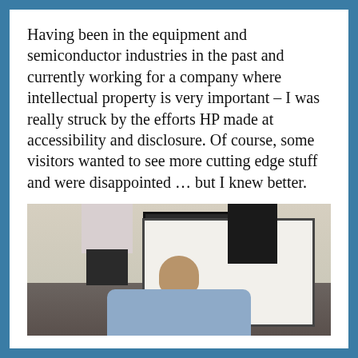Having been in the equipment and semiconductor industries in the past and currently working for a company where intellectual property is very important – I was really struck by the efforts HP made at accessibility and disclosure. Of course, some visitors wanted to see more cutting edge stuff and were disappointed … but I knew better.
[Figure (photo): Indoor photo of three people in a meeting room. Two men stand at the front — one in a light shirt on the left, one in a dark shirt on the right — next to a whiteboard and dark board. A third person is seen from behind in the foreground wearing a blue checked shirt.]